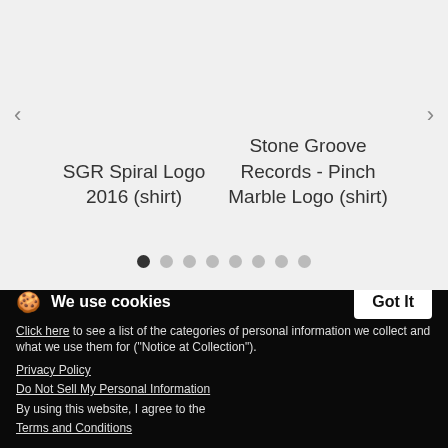[Figure (screenshot): Carousel showing two product items: 'SGR Spiral Logo 2016 (shirt)' and 'Stone Groove Records - Pinch Marble Logo (shirt)', with left/right navigation arrows and pagination dots below]
SGR Spiral Logo 2016 (shirt)
Stone Groove Records - Pinch Marble Logo (shirt)
Privacy
Legal Info
We use cookies
Click here to see a list of the categories of personal information we collect and what we use them for ("Notice at Collection").
Privacy Policy
Do Not Sell My Personal Information
By using this website, I agree to the Terms and Conditions